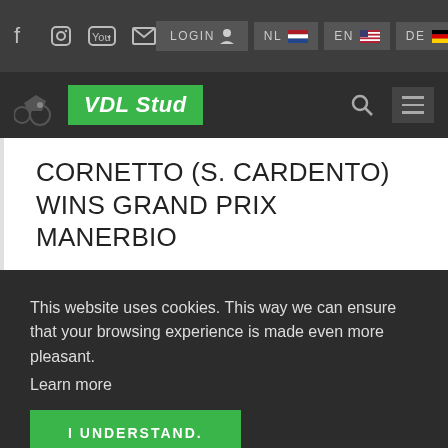VDL Stud website header with social icons (Facebook, Instagram, YouTube, mail), LOGIN button, and language buttons NL, EN, DE
CORNETTO (S. CARDENTO) WINS GRAND PRIX MANERBIO
This website uses cookies. This way we can ensure that your browsing experience is made even more pleasant.
Learn more
I UNDERSTAND.